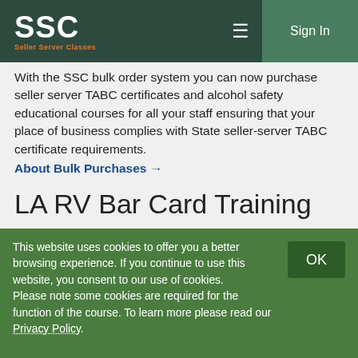SSC Seller Server Classes — Sign In
With the SSC bulk order system you can now purchase seller server TABC certificates and alcohol safety educational courses for all your staff ensuring that your place of business complies with State seller-server TABC certificate requirements.
About Bulk Purchases →
LA RV Bar Card Training
[Figure (screenshot): White card area with an orange button/bar element]
This website uses cookies to offer you a better browsing experience. If you continue to use this website, you consent to our use of cookies. Please note some cookies are required for the function of the course. To learn more please read our Privacy Policy.